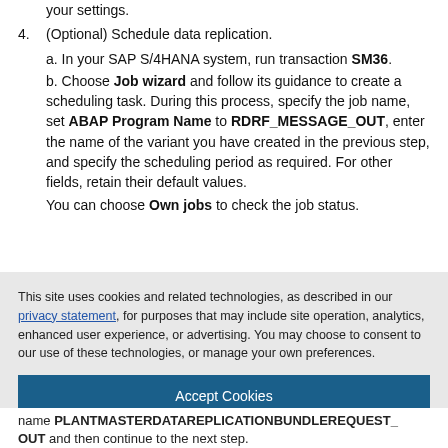your settings.
4. (Optional) Schedule data replication.
a. In your SAP S/4HANA system, run transaction SM36.
b. Choose Job wizard and follow its guidance to create a scheduling task. During this process, specify the job name, set ABAP Program Name to RDRF_MESSAGE_OUT, enter the name of the variant you have created in the previous step, and specify the scheduling period as required. For other fields, retain their default values.
You can choose Own jobs to check the job status.
This site uses cookies and related technologies, as described in our privacy statement, for purposes that may include site operation, analytics, enhanced user experience, or advertising. You may choose to consent to our use of these technologies, or manage your own preferences.
Accept Cookies
More Information
Privacy Policy | Powered by: TrustArc
name PLANTMASTERDATAREPLICATIONBUNDLEREQUEST_OUT and then continue to the next step.